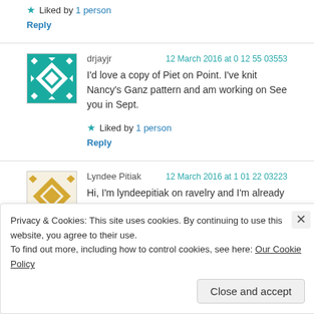★ Liked by 1 person
Reply
drjayjr — 12 March 2016 at 0 12 55 03553
I'd love a copy of Piet on Point. I've knit Nancy's Ganz pattern and am working on See you in Sept.
★ Liked by 1 person
Reply
Lyndee Pitiak — 12 March 2016 at 1 01 22 03223
Hi, I'm lyndeepitiak on ravelry and I'm already a big fan of Nancy's designs. I would love to win Harden. Thanks!
Privacy & Cookies: This site uses cookies. By continuing to use this website, you agree to their use.
To find out more, including how to control cookies, see here: Our Cookie Policy
Close and accept